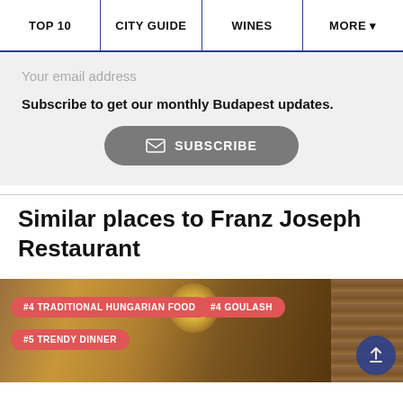TOP 10 | CITY GUIDE | WINES | MORE
Your email address
Subscribe to get our monthly Budapest updates.
SUBSCRIBE
Similar places to Franz Joseph Restaurant
[Figure (photo): Restaurant interior image with three red badge labels: #4 TRADITIONAL HUNGARIAN FOOD, #4 GOULASH, #5 TRENDY DINNER]
#4 TRADITIONAL HUNGARIAN FOOD | #4 GOULASH | #5 TRENDY DINNER